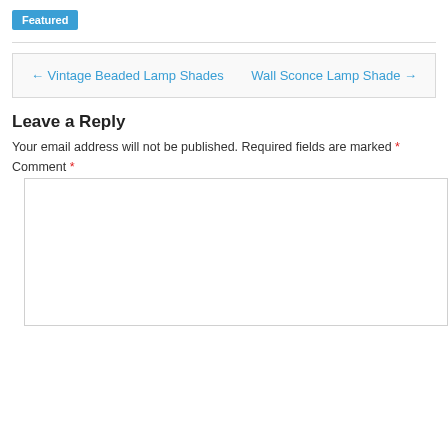Featured
← Vintage Beaded Lamp Shades    Wall Sconce Lamp Shade →
Leave a Reply
Your email address will not be published. Required fields are marked *
Comment *